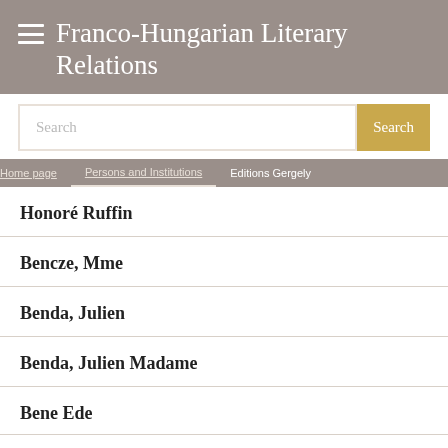Franco-Hungarian Literary Relations
Search
Home page | Persons and Institutions | Editions Gergely
Honoré Ruffin
Bencze, Mme
Benda, Julien
Benda, Julien Madame
Bene Ede